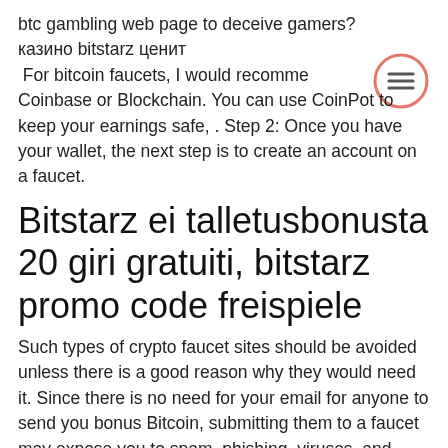btc gambling web page to deceive gamers? казино bitstarz ценит
 For bitcoin faucets, I would recommend Coinbase or Blockchain. You can use CoinPot to keep your earnings safe, . Step 2: Once you have your wallet, the next step is to create an account on a faucet.
[Figure (illustration): Hamburger menu icon: three horizontal lines inside a circle with a salmon/coral colored border, positioned top right.]
Bitstarz ei talletusbonusta 20 giri gratuiti, bitstarz promo code freispiele
Such types of crypto faucet sites should be avoided unless there is a good reason why they would need it. Since there is no need for your email for anyone to send you bonus Bitcoin, submitting them to a faucet may expose you to spam, phishing, viruses, and other malicious activities, промокод в bitstarz casino. Some ads you will find on some of these platforms may also contain